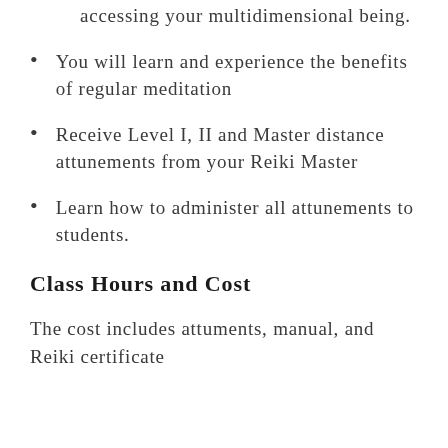accessing your multidimensional being.
You will learn and experience the benefits of regular meditation
Receive Level I, II and Master distance attunements from your Reiki Master
Learn how to administer all attunements to students.
Class Hours and Cost
The cost includes attuments, manual, and Reiki certificate